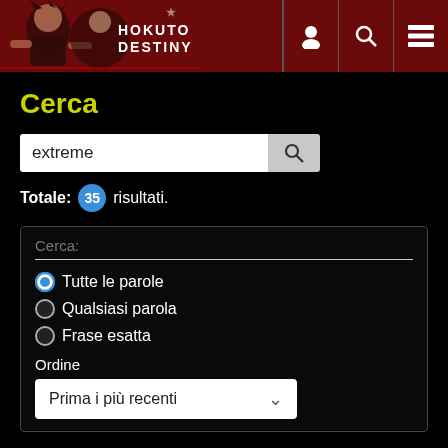HOKUTO DESTINY
Cerca
extreme [search input]
Totale: 35 risultati.
Cerca:
Tutte le parole
Qualsiasi parola
Frase esatta
Ordine
Prima i più recenti
Cerca solo: